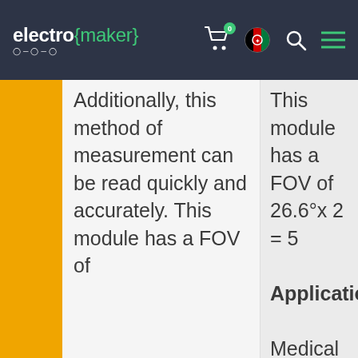[Figure (screenshot): Electromaker website header with logo, cart icon with badge 0, Afghan flag icon, search icon, and hamburger menu icon on dark navy background]
|  | Description | Specs |
| --- | --- | --- |
|  | Additionally, this method of measurement can be read quickly and accurately. This module has a FOV of | This module has a FOV of 26.6°x 2 = 5

Application:

Medical equip
Fire alarm sys
telecommuni |
Add to cart
Electromaker uses cookies to give you the best experience.